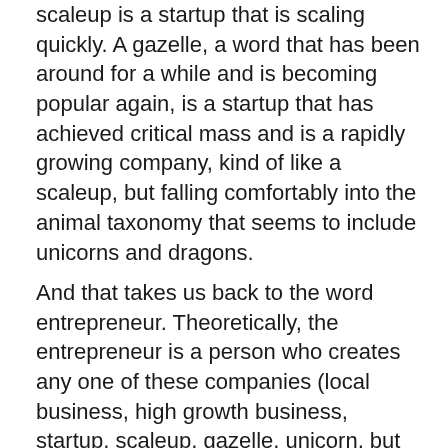scaleup is a startup that is scaling quickly. A gazelle, a word that has been around for a while and is becoming popular again, is a startup that has achieved critical mass and is a rapidly growing company, kind of like a scaleup, but falling comfortably into the animal taxonomy that seems to include unicorns and dragons.
And that takes us back to the word entrepreneur. Theoretically, the entrepreneur is a person who creates any one of these companies (local business, high growth business, startup, scaleup, gazelle, unicorn, but not a peppercorn.) And entrepreneurship is the act of creating and operating the business. Note the and clause – you need to be the creator and the operator to be an